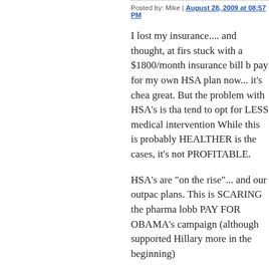Posted by: Mike | August 28, 2009 at 08:57 PM
I lost my insurance.... and thought, at first, stuck with a $1800/month insurance bill but I pay for my own HSA plan now... it's cheap and great. But the problem with HSA's is that people tend to opt for LESS medical intervention... While this is probably HEALTHER is the majority cases, it's not PROFITABLE.
HSA's are "on the rise"... and our outpace other plans. This is SCARING the pharma lobby that PAY FOR OBAMA's campaign (although they supported Hillary more in the beginning)
This is the "kill HSA" bill ... and you'll notice it's NEVER mentioned in the national debate... DEAL BREAKER.
The majority of uncovered people can afford HSA's, why let the government BREAK a system that works? Why not just PROMOTE them, allow the HIGH DEDUCTIBLE and even SUBSIDISE the deductible to make them more affordable for lower income t...